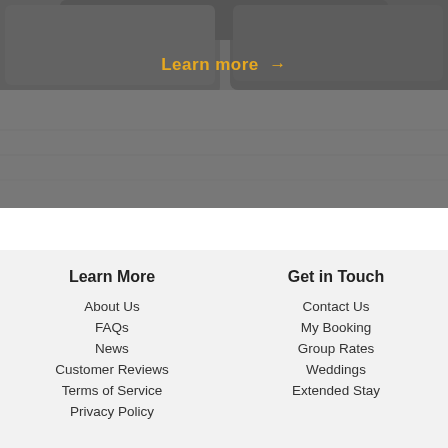[Figure (photo): Hotel bed with grey pillows and bedding, partially visible, dark grey tones]
Learn more →
Learn More
About Us
FAQs
News
Customer Reviews
Terms of Service
Privacy Policy
Get in Touch
Contact Us
My Booking
Group Rates
Weddings
Extended Stay